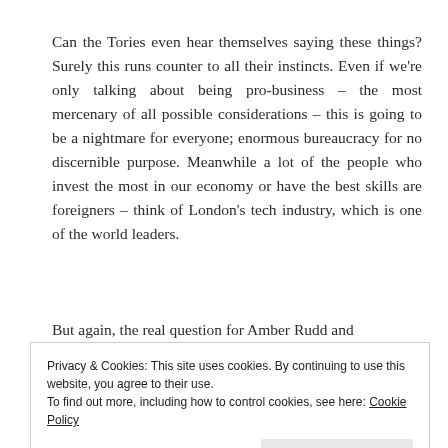Can the Tories even hear themselves saying these things? Surely this runs counter to all their instincts. Even if we're only talking about being pro-business – the most mercenary of all possible considerations – this is going to be a nightmare for everyone; enormous bureaucracy for no discernible purpose. Meanwhile a lot of the people who invest the most in our economy or have the best skills are foreigners – think of London's tech industry, which is one of the world leaders.
But again, the real question for Amber Rudd and
Privacy & Cookies: This site uses cookies. By continuing to use this website, you agree to their use.
To find out more, including how to control cookies, see here: Cookie Policy
[Close and accept]
these pledges might be implemented. My money's on